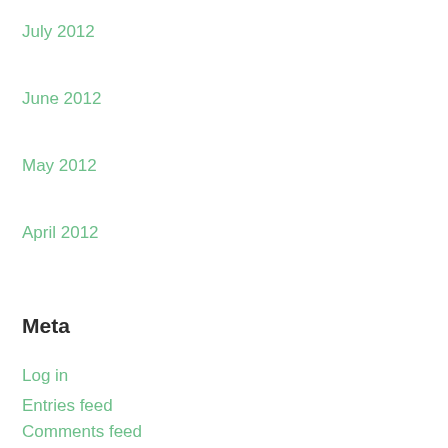July 2012
June 2012
May 2012
April 2012
Meta
Log in
Entries feed
Comments feed
WordPress.org